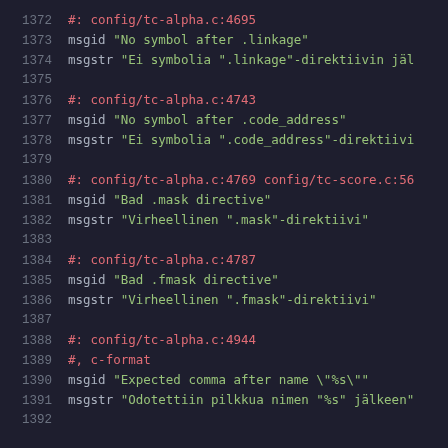1372    #: config/tc-alpha.c:4695
1373    msgid "No symbol after .linkage"
1374    msgstr "Ei symbolia ".linkage"-direktiivin jäl
1375
1376    #: config/tc-alpha.c:4743
1377    msgid "No symbol after .code_address"
1378    msgstr "Ei symbolia ".code_address"-direktiivi
1379
1380    #: config/tc-alpha.c:4769 config/tc-score.c:56
1381    msgid "Bad .mask directive"
1382    msgstr "Virheellinen ".mask"-direktiivi"
1383
1384    #: config/tc-alpha.c:4787
1385    msgid "Bad .fmask directive"
1386    msgstr "Virheellinen ".fmask"-direktiivi"
1387
1388    #: config/tc-alpha.c:4944
1389    #, c-format
1390    msgid "Expected comma after name \"%s\""
1391    msgstr "Odotettiin pilkkua nimen "%s" jälkeen"
1392